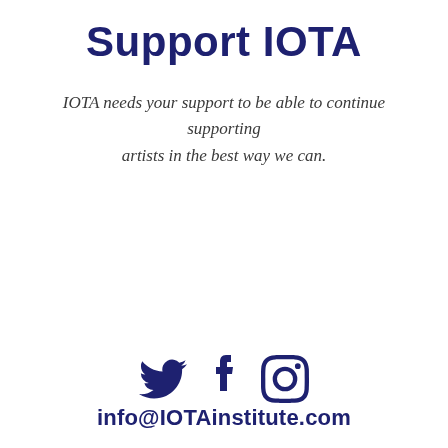Support IOTA
IOTA needs your support to be able to continue supporting artists in the best way we can.
[Figure (illustration): Social media icons: Twitter bird, Facebook f, Instagram camera — displayed in dark navy blue]
info@IOTAinstitute.com